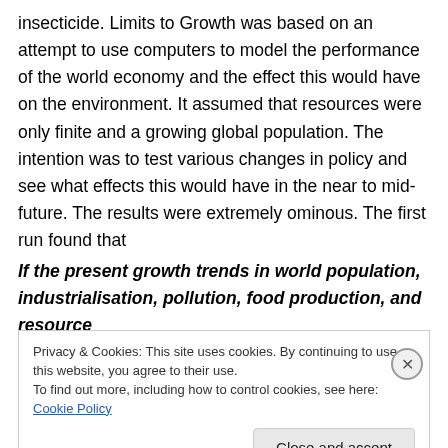insecticide. Limits to Growth was based on an attempt to use computers to model the performance of the world economy and the effect this would have on the environment. It assumed that resources were only finite and a growing global population. The intention was to test various changes in policy and see what effects this would have in the near to mid-future. The results were extremely ominous. The first run found that
If the present growth trends in world population, industrialisation, pollution, food production, and resource
Privacy & Cookies: This site uses cookies. By continuing to use this website, you agree to their use.
To find out more, including how to control cookies, see here: Cookie Policy